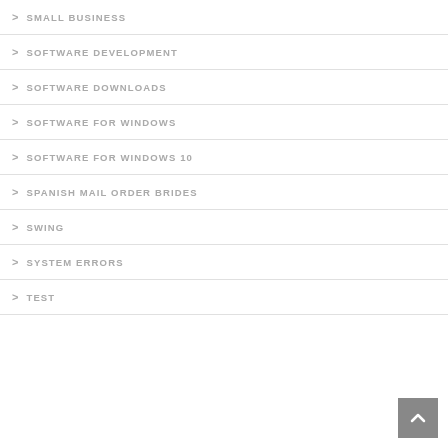> SMALL BUSINESS
> SOFTWARE DEVELOPMENT
> SOFTWARE DOWNLOADS
> SOFTWARE FOR WINDOWS
> SOFTWARE FOR WINDOWS 10
> SPANISH MAIL ORDER BRIDES
> SWING
> SYSTEM ERRORS
> TEST